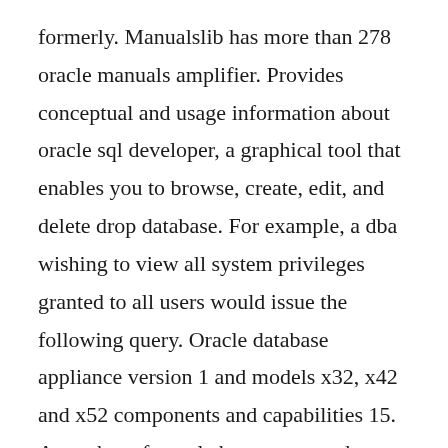formerly. Manualslib has more than 278 oracle manuals amplifier. Provides conceptual and usage information about oracle sql developer, a graphical tool that enables you to browse, create, edit, and delete drop database. For example, a dba wishing to view all system privileges granted to all users would issue the following query. Oracle database appliance version 1 and models x32, x42 and x52 components and capabilities 15. A number of people have contacted me regarding problems uninstalling oracle products. A user account is a schema which is used to store database